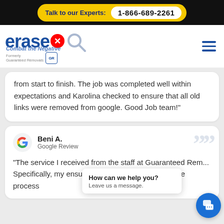Talk to our Experts: 1-866-689-2261
[Figure (logo): EraseX logo — 'erase' in blue bold text with red X circle and magnifier, tagline 'Combat the Negative', 'Formerly Guaranteed Removals' with GR shield badge]
from start to finish. The job was completed well within expectations and Karolina checked to ensure that all old links were removed from google. Good Job team!"
Beni A.
Google Review
"The service I received from the staff at Guaranteed Rem... Specifically, my... ensured that I understood the entire process
How can we help you? Leave us a message.